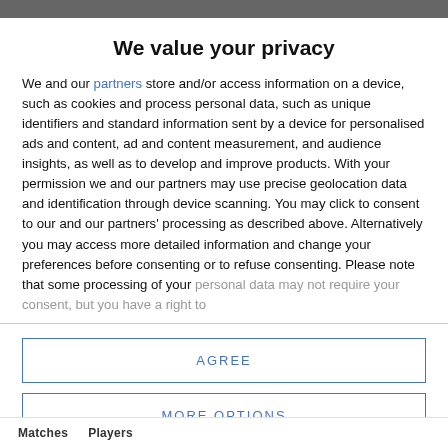We value your privacy
We and our partners store and/or access information on a device, such as cookies and process personal data, such as unique identifiers and standard information sent by a device for personalised ads and content, ad and content measurement, and audience insights, as well as to develop and improve products. With your permission we and our partners may use precise geolocation data and identification through device scanning. You may click to consent to our and our partners' processing as described above. Alternatively you may access more detailed information and change your preferences before consenting or to refuse consenting. Please note that some processing of your personal data may not require your consent, but you have a right to
AGREE
MORE OPTIONS
Matches   Players